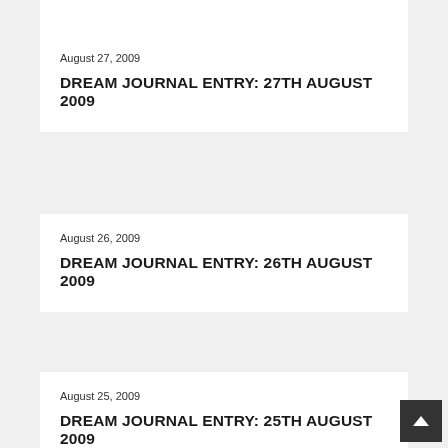August 27, 2009
DREAM JOURNAL ENTRY: 27TH AUGUST 2009
August 26, 2009
DREAM JOURNAL ENTRY: 26TH AUGUST 2009
August 25, 2009
DREAM JOURNAL ENTRY: 25TH AUGUST 2009